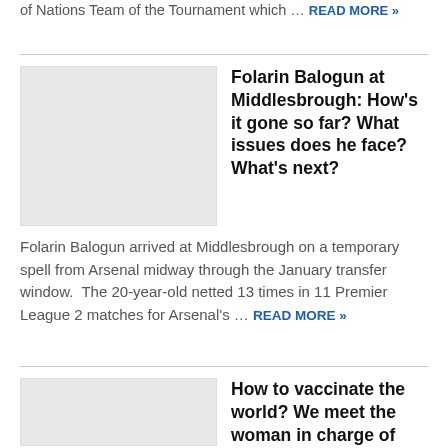of Nations Team of the Tournament which … READ MORE »
Folarin Balogun at Middlesbrough: How's it gone so far? What issues does he face? What's next?
[Figure (photo): Placeholder image for Folarin Balogun article]
Folarin Balogun arrived at Middlesbrough on a temporary spell from Arsenal midway through the January transfer window.  The 20-year-old netted 13 times in 11 Premier League 2 matches for Arsenal's … READ MORE »
How to vaccinate the world? We meet the woman in charge of logistics
[Figure (photo): Placeholder image for vaccination article]